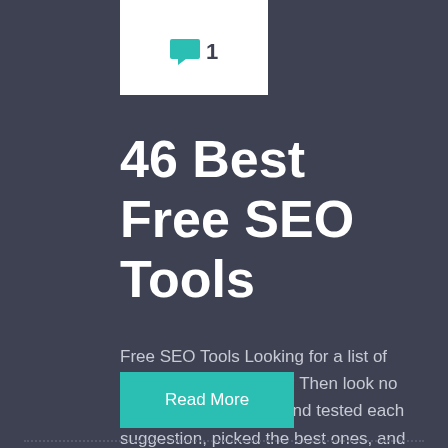[Figure (other): Comment badge with teal top bar, speech bubble icon and number 1]
46 Best Free SEO Tools
Free SEO Tools Looking for a list of free, useful SEO tools? Then look no further. We then tried and tested each suggestion, picked the best ones, and grouped them by category. If you're on a tight budget, this list should serve you well. Here are the categories: Keyw
Read More